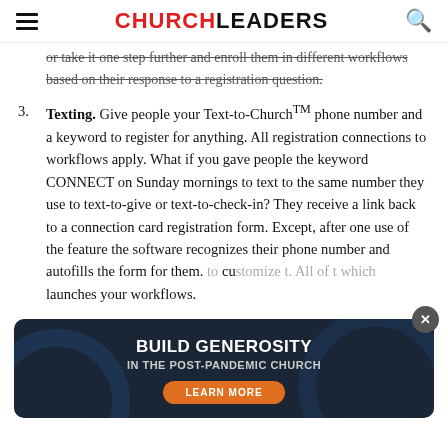CHURCHLEADERS
or take it one step further and enroll them in different workflows based on their response to a registration question.
3. Texting. Give people your Text-to-Church™ phone number and a keyword to register for anything. All registration connections to workflows apply. What if you gave people the keyword CONNECT on Sunday mornings to text to the same number they use to text-to-give or text-to-check-in? They receive a link back to a connection card registration form. Except, after one use of the feature the software recognizes their phone number and autofills the form for them. [ad overlay] to customize [ad overlay] t. All of t [ad overlay] which launches your workflows.
[Figure (infographic): Ad overlay: BUILD GENEROSITY IN THE POST-PANDEMIC CHURCH with LEARN MORE button and close X button, dark blue background with circular decorations]